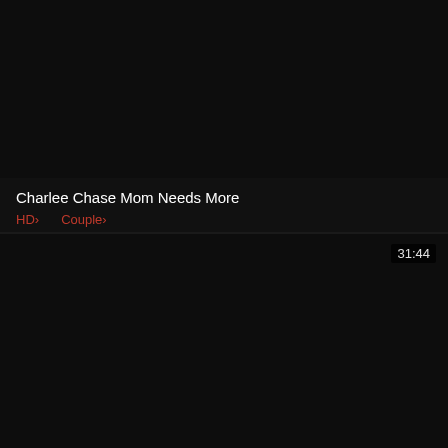[Figure (screenshot): Black video thumbnail placeholder for top card]
Charlee Chase Mom Needs More
HD > Couple >
[Figure (screenshot): Black video thumbnail placeholder for bottom card with duration badge 31:44]